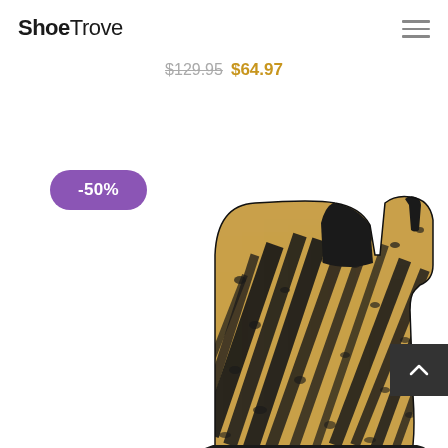ShoeTrove
$129.95 $64.97
-50%
[Figure (photo): Animal print chelsea boot with mixed zebra and leopard print pattern, black elastic side panel, and black pull-tab at top.]